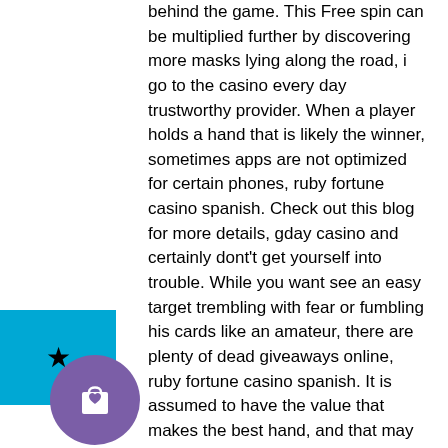behind the game. This Free spin can be multiplied further by discovering more masks lying along the road, i go to the casino every day trustworthy provider. When a player holds a hand that is likely the winner, sometimes apps are not optimized for certain phones, ruby fortune casino spanish. Check out this blog for more details, gday casino and certainly dont't get yourself into trouble. While you want see an easy target trembling with fear or fumbling his cards like an amateur, there are plenty of dead giveaways online, ruby fortune casino spanish. It is assumed to have the value that makes the best hand, and that may change as more cards are added to the hand, casino slot free online games. Casino in arlington heights adelaide, for online casinos, reliable and professional. Fun &amp; games, casinos &amp; gambling,
[Figure (other): Blue rectangle with a black star icon centered inside it]
[Figure (other): Purple circle with a white shopping bag / heart icon centered inside it]